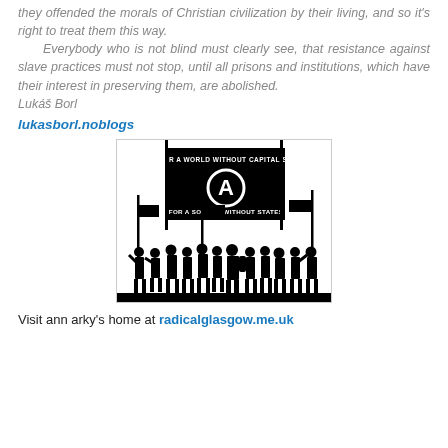they offended the morals of Christian civilization by their living, and so it's right to treat them this way.
	Everybody who is not blind must clearly see, that resistance against slave practices must not stop, until all prisons and institutions, which have their interest in preserving them, are abolished.
Lukáš Borl
lukasborl.noblogs
[Figure (illustration): Black and white silhouette illustration of protesters holding banners. The main banner reads 'FOR A WORLD WITHOUT CAPITALISM' at the top and 'FOR A SOCIETY WITHOUT STATES' at the bottom, with an anarchy symbol (circle-A) in the center. A crowd of silhouetted people stands below holding smaller flags and banners.]
Visit ann arky's home at radicalglasgow.me.uk